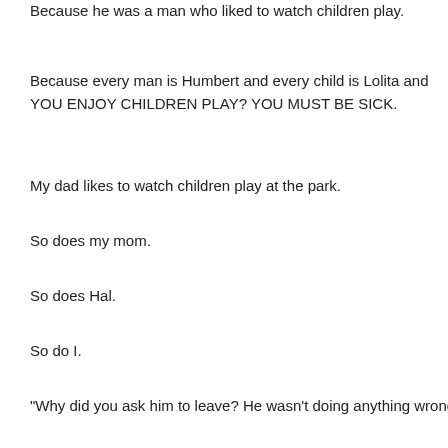Because he was a man who liked to watch children play.
Because every man is Humbert and every child is Lolita and YOU ENJOY CHILDREN PLAY? YOU MUST BE SICK.
My dad likes to watch children play at the park.
So does my mom.
So does Hal.
So do I.
"Why did you ask him to leave? He wasn't doing anything wrong."
"He might be a sexual predator," one of the moms insisted. "You never kn
***
I am constantly asked how I could possibly share so much of my life in a photos of my children for potential crazy people to see. Subject my family